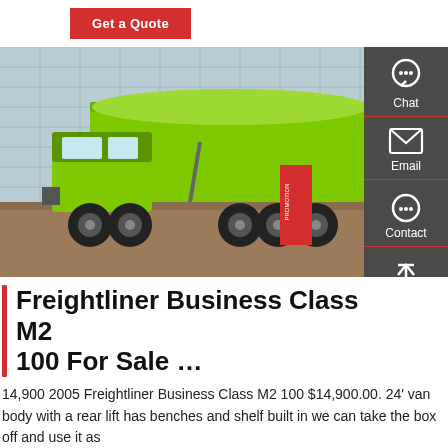Get a Quote
[Figure (photo): A large green dump truck (commercial vehicle) parked outside a modern glass building, with a red promotional banner beside it.]
Freightliner Business Class M2 100 For Sale …
14,900 2005 Freightliner Business Class M2 100 $14,900.00. 24' van body with a rear lift has benches and shelf built in we can take the box off and use it as